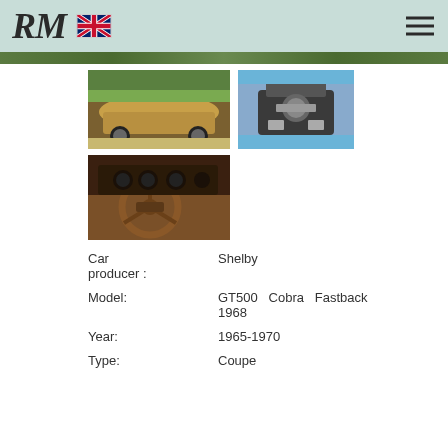RM (logo) — UK flag — hamburger menu
[Figure (photo): Green top-strip banner image of a car]
[Figure (photo): Gold/tan Shelby Mustang GT500 Cobra Fastback 1968 rear three-quarter view outdoors]
[Figure (photo): Engine bay view of the Shelby GT500 Cobra with chrome engine details]
[Figure (photo): Interior view showing the Shelby steering wheel and wood-trimmed dashboard]
| Field | Value |
| --- | --- |
| Car producer : | Shelby |
| Model: | GT500 Cobra Fastback 1968 |
| Year: | 1965-1970 |
| Type: | Coupe |